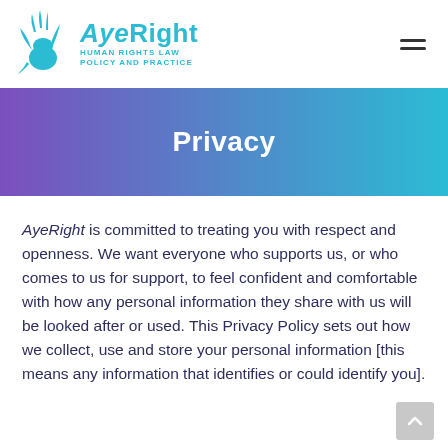AyeRight HUMAN RIGHTS LAW POLICY AND PRACTICE
Privacy
AyeRight is committed to treating you with respect and openness. We want everyone who supports us, or who comes to us for support, to feel confident and comfortable with how any personal information they share with us will be looked after or used.  This Privacy Policy sets out how we collect, use and store your personal information [this means any information that identifies or could identify you].